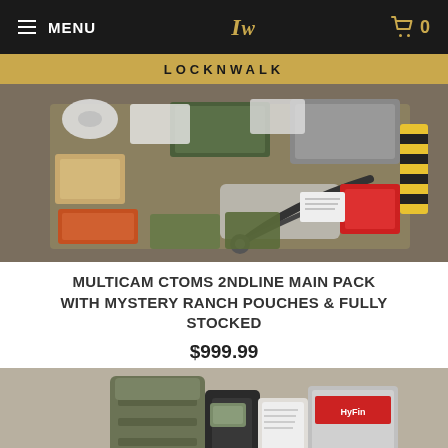MENU | LW logo | Cart 0
LOCKNWALK
[Figure (photo): Overhead photo of a large assortment of military tactical gear, medical supplies, pouches, packaging, scissors, and equipment spread out on a surface.]
MULTICAM CTOMS 2NDLINE MAIN PACK WITH MYSTERY RANCH POUCHES & FULLY STOCKED
$999.99
[Figure (photo): Photo of a military/tactical MOLLE pouch in olive drab with medical supplies including packaged items and a HyFin brand product visible.]